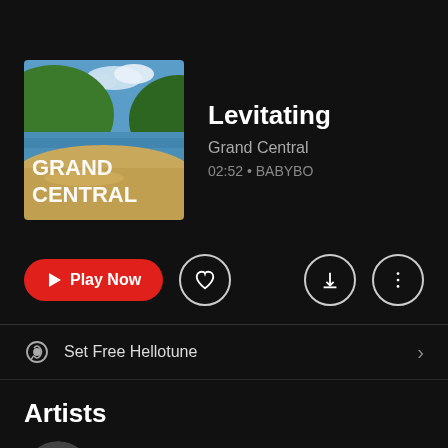[Figure (screenshot): Album art for 'Grand Central' showing a beach scene with green hills, blue sky, sand, and ocean water. Text 'GRAND CENTRAL' in white bold letters overlay the bottom-left.]
Levitating
Grand Central
02:52 • BABYBO
Play Now
Set Free Hellotune
Artists